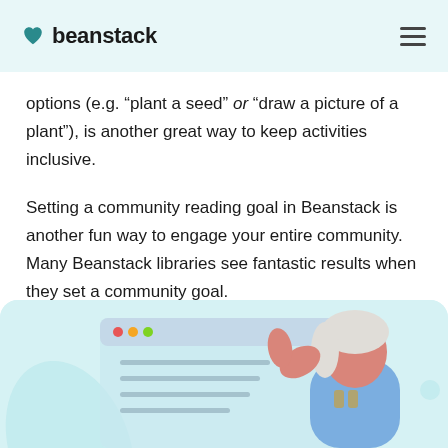beanstack
options (e.g. “plant a seed” or “draw a picture of a plant”), is another great way to keep activities inclusive.
Setting a community reading goal in Beanstack is another fun way to engage your entire community. Many Beanstack libraries see fantastic results when they set a community goal.
[Figure (illustration): Illustration of a person with white hair and pink skin wearing a blue top, gesturing toward a browser window UI on a light teal background.]